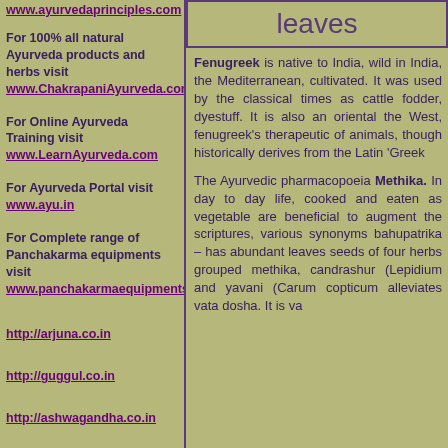www.ayurvedaprinciples.com
For 100% all natural Ayurveda products and herbs visit www.ChakrapaniAyurveda.com
For Online Ayurveda Training visit www.LearnAyurveda.com
For Ayurveda Portal visit www.ayu.in
For Complete range of Panchakarma equipments visit www.panchakarmaequipments.com
http://arjuna.co.in
http://guggul.co.in
http://ashwagandha.co.in
http://shatavari.in
http://kaunch.in
leaves
Fenugreek is native to India, wild in India, the Mediterranean, cultivated. It was used by the classical times as cattle fodder, dyestuff. It is also an oriental the West, fenugreek's therapeutic of animals, though historically derives from the Latin 'Gree...
The Ayurvedic pharmacopoeia Methika. In day to day life, cooked and eaten as vegetable are beneficial to augment scriptures, various synonyms bahupatrika – has abundant leaves seeds of four herbs grouped methika, candrashur (Lepidiu and yavani (Carum copticu alleviates vata dosha. It is va...